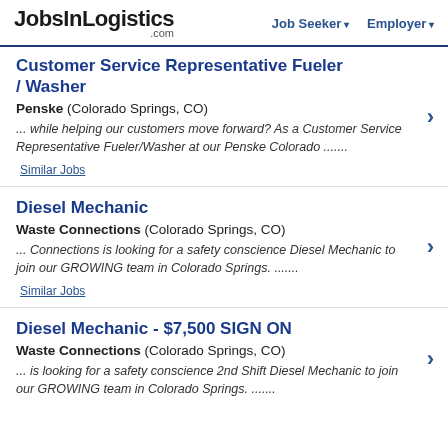JobsInLogistics.com | Job Seeker | Employer
Customer Service Representative Fueler / Washer
Penske (Colorado Springs, CO)
... while helping our customers move forward? As a Customer Service Representative Fueler/Washer at our Penske Colorado .......
Similar Jobs
Diesel Mechanic
Waste Connections (Colorado Springs, CO)
... Connections is looking for a safety conscience Diesel Mechanic to join our GROWING team in Colorado Springs. .......
Similar Jobs
Diesel Mechanic - $7,500 SIGN ON
Waste Connections (Colorado Springs, CO)
... is looking for a safety conscience 2nd Shift Diesel Mechanic to join our GROWING team in Colorado Springs. .......